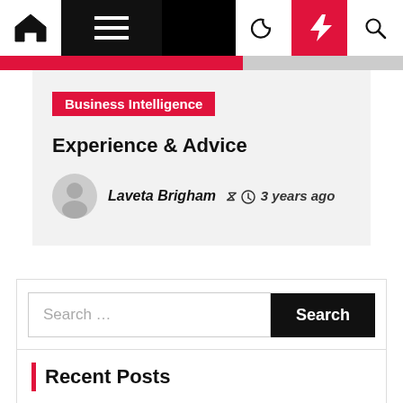Navigation bar with home, menu, moon, bolt, search icons
Business Intelligence
Experience & Advice
Laveta Brigham  3 years ago
Search ...
Recent Posts
SaaS Unicorn Exterro On How it Identified a